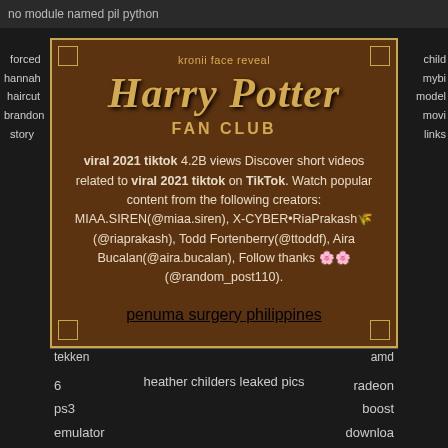no module named pil python
kronii face reveal
Harry Potter
FAN CLUB
viral 2021 tiktok 4.2B views Discover short videos related to viral 2021 tiktok on TikTok. Watch popular content from the following creators: MIAA.SIREN(@miaa.siren), X-CYBER•RiaPrakash🌾(@riaprakash), Todd Fortenberry(@ttoddf), Aira Bucalan(@aira.bucalan), Follow thanks 🌸🌸(@random_post110).
penuma surgery philippines
forced
hannah
haircut
brandon
story
child
mybi
model
movi
links
tekken
amd
6
ps3
emulator
download
heather childers leaked pics
radeon
boost
download